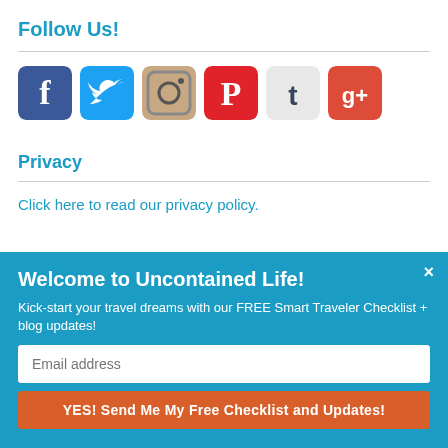Follow Us!
[Figure (other): Row of social media icons: Facebook, Twitter, Instagram, Pinterest, Tumblr, Google+]
Privacy
Click here to read our privacy policy.
Welcome to Uncontained Life!
Kick-start your travel dreams with our FREE Smart Traveler Checklist + blog updates!